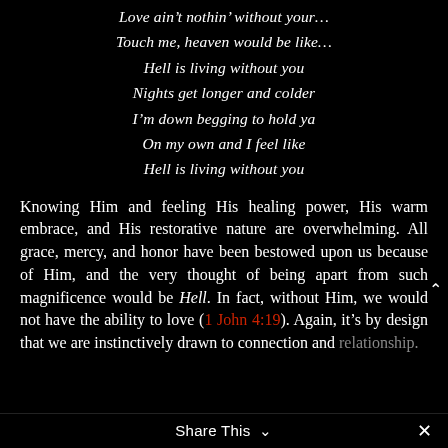Love ain't nothin' without your…
Touch me, heaven would be like…
Hell is living without you
Nights get longer and colder
I'm down begging to hold ya
On my own and I feel like
Hell is living without you
Knowing Him and feeling His healing power, His warm embrace, and His restorative nature are overwhelming. All grace, mercy, and honor have been bestowed upon us because of Him, and the very thought of being apart from such magnificence would be Hell. In fact, without Him, we would not have the ability to love (1 John 4:19). Again, it's by design that we are instinctively drawn to connection and relationship.
Share This ∨   ×